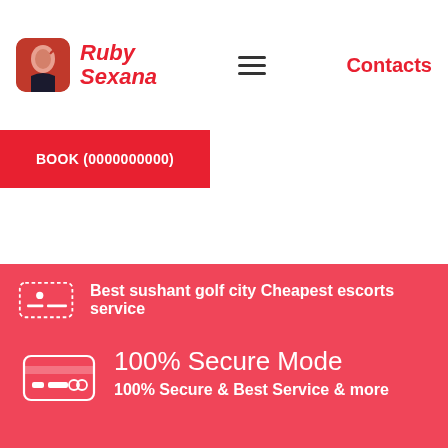Ruby Sexana | Contacts
BOOK (0000000000)
Best sushant golf city Cheapest escorts service
100% Secure Mode
100% Secure & Best Service & more
Warning 18+
This website has adult content and if you are above 18 years then only you can access this website else